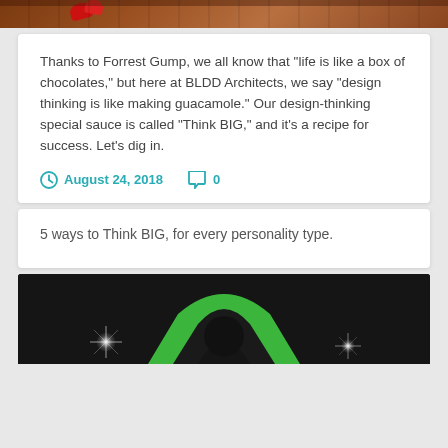[Figure (photo): Top portion of a photo showing a wooden surface with red decorative elements]
Thanks to Forrest Gump, we all know that “life is like a box of chocolates,” but here at BLDD Architects, we say “design thinking is like making guacamole.” Our design-thinking special sauce is called “Think BIG,” and it’s a recipe for success. Let’s dig in.
August 24, 2018  0
5 ways to Think BIG, for every personality type.
[Figure (photo): Bottom portion showing a dark background with a green arch/logo shape and lens flare effects]